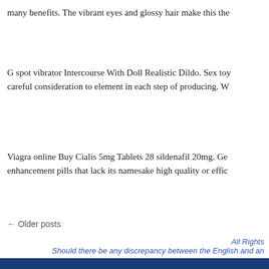many benefits. The vibrant eyes and glossy hair make this the...
G spot vibrator Intercourse With Doll Realistic Dildo. Sex toy... careful consideration to element in each step of producing. W...
Viagra online Buy Cialis 5mg Tablets 28 sildenafil 20mg. Ge... enhancement pills that lack its namesake high quality or effic...
← Older posts
All Rights... Should there be any discrepancy between the English and an...